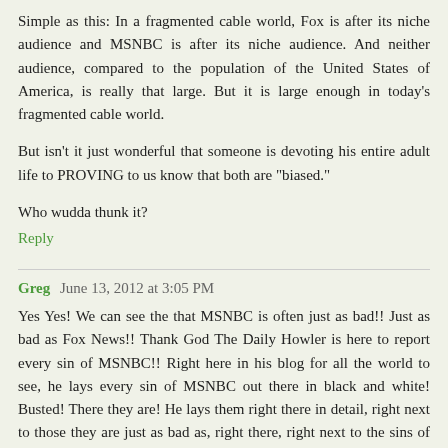Simple as this: In a fragmented cable world, Fox is after its niche audience and MSNBC is after its niche audience. And neither audience, compared to the population of the United States of America, is really that large. But it is large enough in today's fragmented cable world.
But isn't it just wonderful that someone is devoting his entire adult life to PROVING to us know that both are "biased."
Who wudda thunk it?
Reply
Greg  June 13, 2012 at 3:05 PM
Yes Yes! We can see the that MSNBC is often just as bad!! Just as bad as Fox News!! Thank God The Daily Howler is here to report every sin of MSNBC!! Right here in his blog for all the world to see, he lays every sin of MSNBC out there in black and white! Busted! There they are! He lays them right there in detail, right next to those they are just as bad as, right there, right next to the sins of Fo---......... oops.